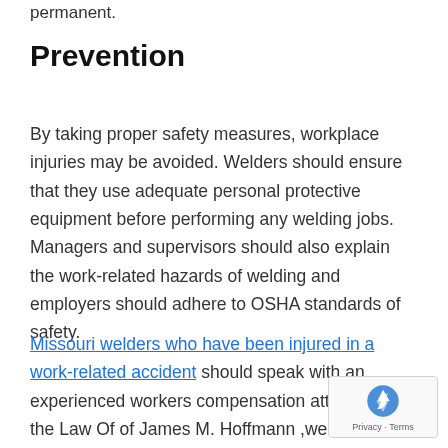permanent.
Prevention
By taking proper safety measures, workplace injuries may be avoided. Welders should ensure that they use adequate personal protective equipment before performing any welding jobs. Managers and supervisors should also explain the work-related hazards of welding and employers should adhere to OSHA standards of safety.
Missouri welders who have been injured in a work-related accident should speak with an experienced workers compensation attorney. At the Law Of of James M. Hoffmann ,we have been helping